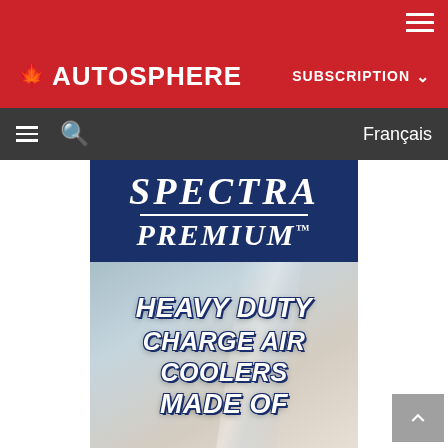AUTOSPHERE — SUBSCRIPTION navigation bar
[Figure (logo): Autosphere logo in red header bar with SUBSCRIPTION dropdown]
[Figure (screenshot): Navigation bar with hamburger menu, search icon, and Français link]
[Figure (advertisement): Spectra Premium advertisement showing Heavy Duty Charge Air Coolers Made Of with dark blue logo header and metallic background image]